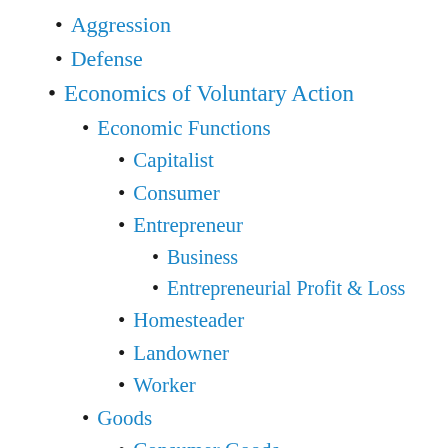Aggression
Defense
Economics of Voluntary Action
Economic Functions
Capitalist
Consumer
Entrepreneur
Business
Entrepreneurial Profit & Loss
Homesteader
Landowner
Worker
Goods
Consumer Goods
Factors of Production
Capital